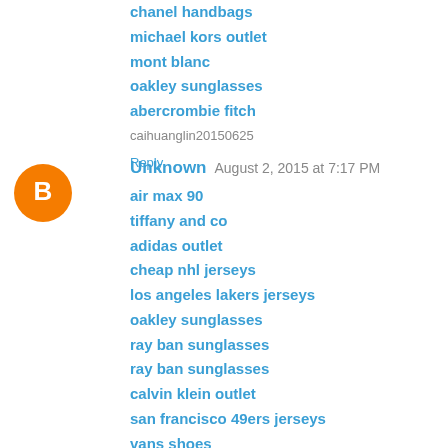chanel handbags
michael kors outlet
mont blanc
oakley sunglasses
abercrombie fitch
caihuanglin20150625
Reply
Unknown  August 2, 2015 at 7:17 PM
air max 90
tiffany and co
adidas outlet
cheap nhl jerseys
los angeles lakers jerseys
oakley sunglasses
ray ban sunglasses
ray ban sunglasses
calvin klein outlet
san francisco 49ers jerseys
vans shoes
toms shoes